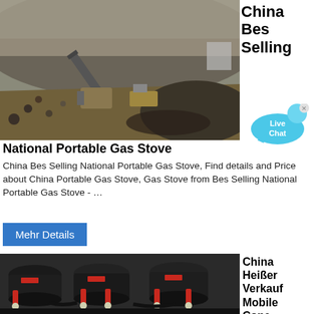[Figure (photo): Aerial/elevated view of an open-pit mining or quarry site with heavy machinery, conveyor belts, and large piles of rock and gravel.]
China Bes Selling
[Figure (illustration): Live Chat speech bubble icon in cyan/blue color with 'Live Chat' text and a small x close button.]
National Portable Gas Stove
China Bes Selling National Portable Gas Stove, Find details and Price about China Portable Gas Stove, Gas Stove from Bes Selling National Portable Gas Stove - …
Mehr Details
[Figure (photo): Multiple black and red mobile cone crushers lined up, industrial mining/crushing machinery.]
China Heißer Verkauf Mobile Cone Crusher für